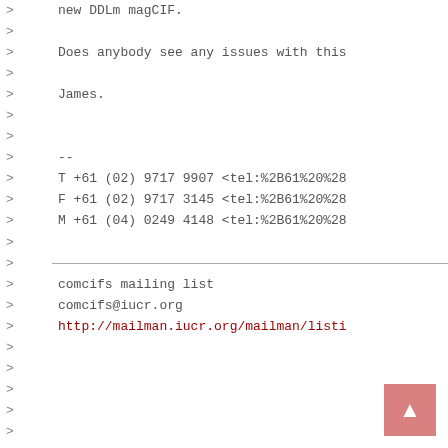> new DDLm magCIF.
>
> Does anybody see any issues with this
>
> James.
>
>
> --
> T +61 (02) 9717 9907 <tel:%2B61%20%28
> F +61 (02) 9717 3145 <tel:%2B61%20%28
> M +61 (04) 0249 4148 <tel:%2B61%20%28
>
>
> comcifs mailing list
> comcifs@iucr.org
> http://mailman.iucr.org/mailman/listi
>
>
>
>
>